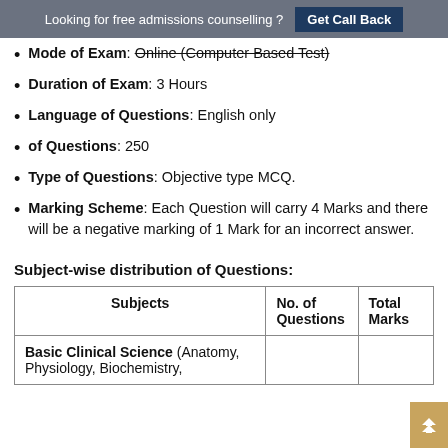Looking for free admissions counselling ? Get Call Back
Mode of Exam: Online (Computer Based Test)
Duration of Exam: 3 Hours
Language of Questions: English only
of Questions: 250
Type of Questions: Objective type MCQ.
Marking Scheme: Each Question will carry 4 Marks and there will be a negative marking of 1 Mark for an incorrect answer.
Subject-wise distribution of Questions:
| Subjects | No. of Questions | Total Marks |
| --- | --- | --- |
| Basic Clinical Science (Anatomy, Physiology, Biochemistry, |  |  |